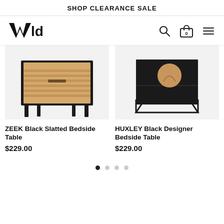SHOP CLEARANCE SALE
[Figure (logo): WYLD brand logo in bold black stylized letters with arrow shape]
[Figure (photo): ZEEK Black Slatted Bedside Table - a wooden slatted drawer unit with dark metal legs on white background]
[Figure (photo): HUXLEY Black Designer Bedside Table - black cabinet with large round wood-tone knob and geometric metal frame on white background]
ZEEK Black Slatted Bedside Table
$229.00
HUXLEY Black Designer Bedside Table
$229.00